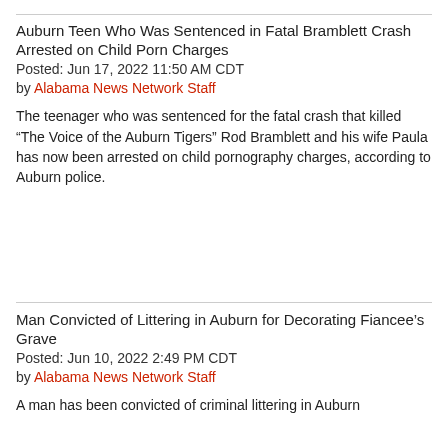Auburn Teen Who Was Sentenced in Fatal Bramblett Crash Arrested on Child Porn Charges
Posted: Jun 17, 2022 11:50 AM CDT
by Alabama News Network Staff
The teenager who was sentenced for the fatal crash that killed “The Voice of the Auburn Tigers” Rod Bramblett and his wife Paula has now been arrested on child pornography charges, according to Auburn police.
Man Convicted of Littering in Auburn for Decorating Fiancee’s Grave
Posted: Jun 10, 2022 2:49 PM CDT
by Alabama News Network Staff
A man has been convicted of criminal littering in Auburn